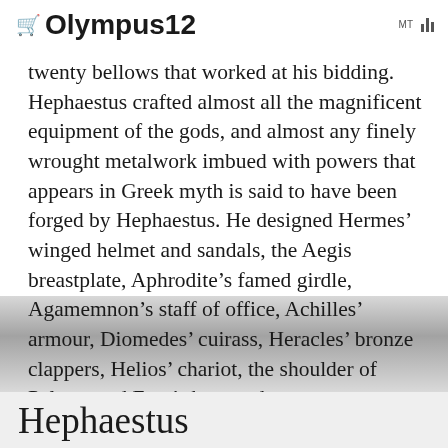Olympus12 MT
twenty bellows that worked at his bidding. Hephaestus crafted almost all the magnificent equipment of the gods, and almost any finely wrought metalwork imbued with powers that appears in Greek myth is said to have been forged by Hephaestus. He designed Hermes’ winged helmet and sandals, the Aegis breastplate, Aphrodite’s famed girdle, Agamemnon’s staff of office, Achilles’ armour, Diomedes’ cuirass, Heracles’ bronze clappers, Helios’ chariot, the shoulder of Pelops, and Eros’s bow and arrows.
[Figure (photo): Background image showing ancient ruins or stone structures, partially visible behind the text content]
Hephaestus